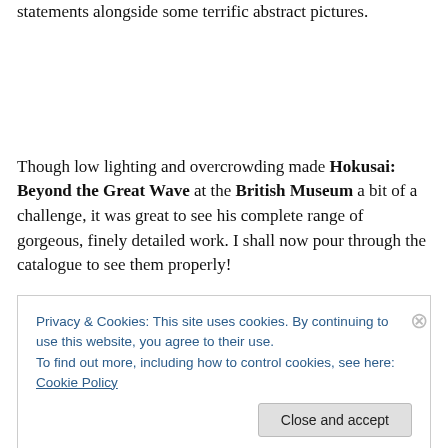statements alongside some terrific abstract pictures.
Though low lighting and overcrowding made Hokusai: Beyond the Great Wave at the British Museum a bit of a challenge, it was great to see his complete range of gorgeous, finely detailed work. I shall now pour through the catalogue to see them properly!
The month ended on a real art high with Alma-Tadema at
Privacy & Cookies: This site uses cookies. By continuing to use this website, you agree to their use.
To find out more, including how to control cookies, see here: Cookie Policy
Close and accept